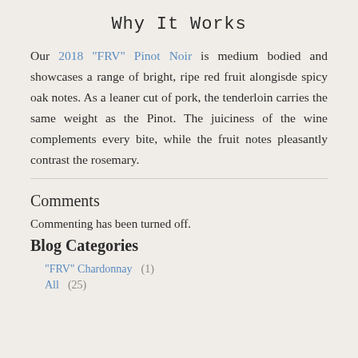Why It Works
Our 2018 "FRV" Pinot Noir is medium bodied and showcases a range of bright, ripe red fruit alongisde spicy oak notes. As a leaner cut of pork, the tenderloin carries the same weight as the Pinot. The juiciness of the wine complements every bite, while the fruit notes pleasantly contrast the rosemary.
Comments
Commenting has been turned off.
Blog Categories
"FRV" Chardonnay  (1)
All  (25)